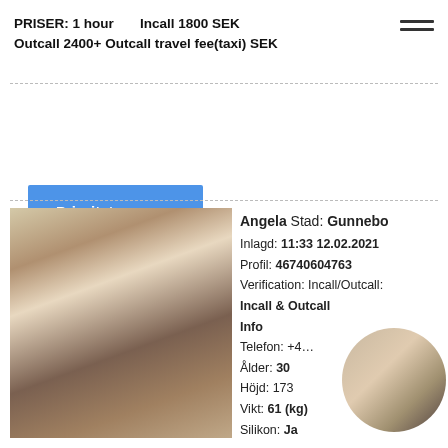PRISER: 1 hour   Incall 1800 SEK
Outcall 2400+ Outcall travel fee(taxi) SEK
Prioritetsannons
[Figure (photo): Photo of a woman in a kitchen, wearing a white crop top and plaid skirt]
Angela Stad: Gunnebo
Inlagd: 11:33 12.02.2021
Profil: 46740604763
Verification: Incall/Outcall:
Incall & Outcall
Info
Telefon: +4...
Ålder: 30
Höjd: 173
Vikt: 61 (kg)
Silikon: Ja
[Figure (photo): Circular avatar photo of a woman with light hair wearing a cap]